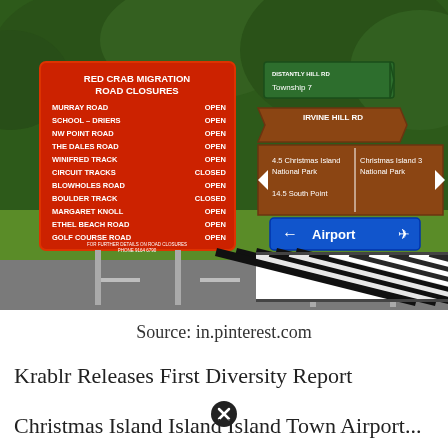[Figure (photo): Photo of road signs at an intersection on Christmas Island. On the left is a red sign reading 'RED CRAB MIGRATION ROAD CLOSURES' listing roads (Murray Road, School-Driers, NW Point Road, The Dales Road, Winifred Track, Circuit Tracks, Blowholes Road, Boulder Track, Margaret Knoll, Ethel Beach Road, Golf Course Road) with statuses OPEN or CLOSED. On the right are brown directional signs for Irvine Hill Rd showing distances to Christmas Island National Park (4.5 and 3 km) and 14.5 South Point, a green sign for Distantly Hill Rd to Township 7, and a blue airport sign with arrow.]
Source: in.pinterest.com
Krablr Releases First Diversity Report
Christmas Island Island Island Town Airport...